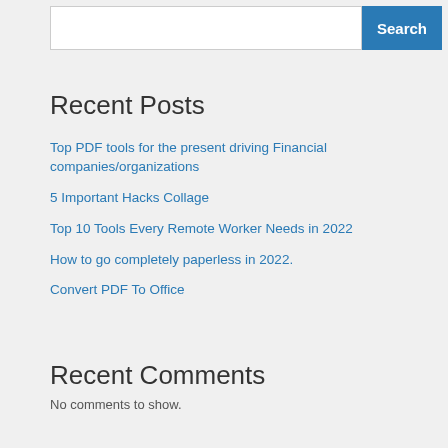Recent Posts
Top PDF tools for the present driving Financial companies/organizations
5 Important Hacks Collage
Top 10 Tools Every Remote Worker Needs in 2022
How to go completely paperless in 2022.
Convert PDF To Office
Recent Comments
No comments to show.